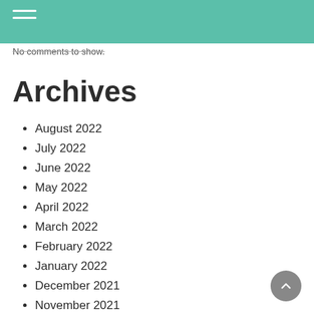No comments to show.
Archives
August 2022
July 2022
June 2022
May 2022
April 2022
March 2022
February 2022
January 2022
December 2021
November 2021
October 2021
September 2021
August 2021